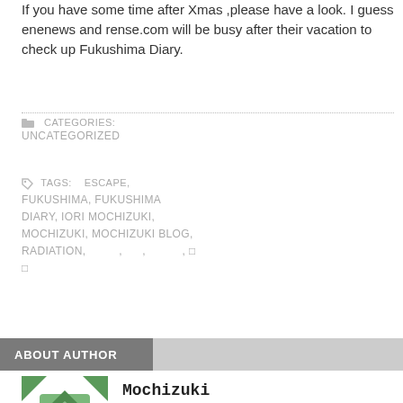If you have some time after Xmas ,please have a look. I guess enenews and rense.com will be busy after their vacation to check up Fukushima Diary.
CATEGORIES: UNCATEGORIZED
TAGS: ESCAPE, FUKUSHIMA, FUKUSHIMA DIARY, IORI MOCHIZUKI, MOCHIZUKI, MOCHIZUKI BLOG, RADIATION, , , , ,
ABOUT AUTHOR
Mochizuki